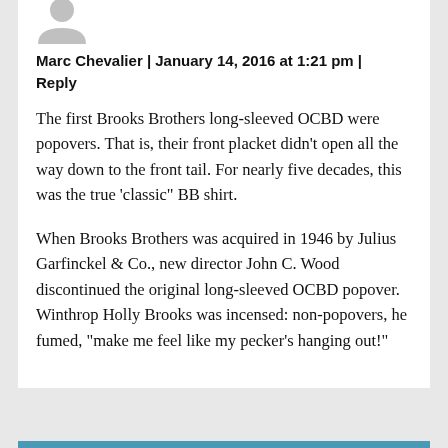[Figure (illustration): Partial view of a generic grey avatar/profile icon at the top of a comment card]
Marc Chevalier | January 14, 2016 at 1:21 pm | Reply
The first Brooks Brothers long-sleeved OCBD were popovers. That is, their front placket didn’t open all the way down to the front tail. For nearly five decades, this was the true ‘classic” BB shirt.
When Brooks Brothers was acquired in 1946 by Julius Garfinckel & Co., new director John C. Wood discontinued the original long-sleeved OCBD popover. Winthrop Holly Brooks was incensed: non-popovers, he fumed, “make me feel like my pecker’s hanging out!”